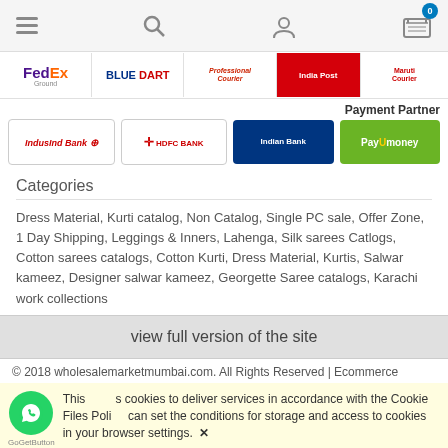[Figure (screenshot): Website navigation bar with hamburger menu, search icon, user icon, and shopping cart with badge showing 0]
[Figure (screenshot): Row of courier partner logos: FedEx Ground, Blue Dart, Professional Courier, India Post, Maruti Courier]
Payment Partner
[Figure (logo): Payment partner logos: IndusInd Bank, HDFC Bank, Indian Bank, PayUmoney]
Categories
Dress Material, Kurti catalog, Non Catalog, Single PC sale, Offer Zone, 1 Day Shipping, Leggings & Inners, Lahenga, Silk sarees Catlogs, Cotton sarees catalogs, Cotton Kurti, Dress Material, Kurtis, Salwar kameez, Designer salwar kameez, Georgette Saree catalogs, Karachi work collections
view full version of the site
© 2018 wholesalemarketmumbai.com. All Rights Reserved | Ecommerce
This uses cookies to deliver services in accordance with the Cookie Files Policy. You can set the conditions for storage and access to cookies in your browser settings.